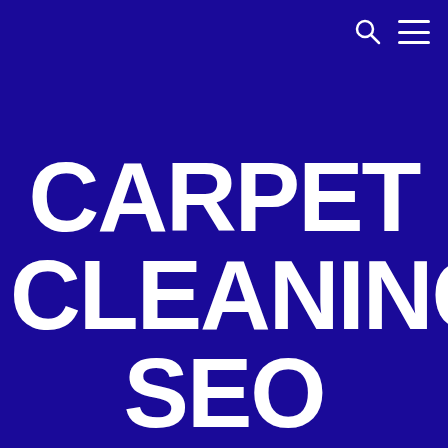[Figure (other): Navigation bar icons: search icon (magnifying glass) and hamburger menu icon, white on dark blue background, top right corner]
CARPET CLEANING SEO SERVICES